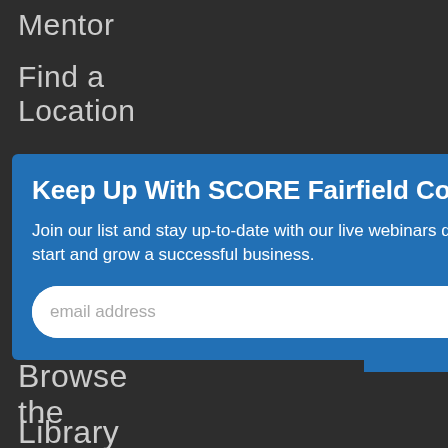Mentor
Find a
Location
Take a
Workshop
[Figure (screenshot): Modal popup with blue background containing email signup form for SCORE Fairfield County newsletter]
Keep Up With SCORE Fairfield County
Join our list and stay up-to-date with our live webinars designed to help you start and grow a successful business.
email address
SUBMIT
ne A
eer >
Browse
the
Library